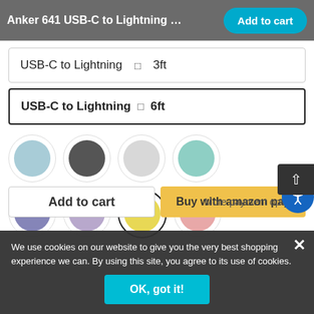Anker 641 USB-C to Lightning Ca...
USB-C to Lightning  ⬛  3ft
USB-C to Lightning  ⬛  6ft
[Figure (other): Eight color swatch circles in two rows: light blue, dark gray, light gray, teal (top row); purple, lavender, yellow (selected), pink (bottom row)]
Add to cart
Buy with amazon pay
More payment options
We use cookies on our website to give you the very best shopping experience we can. By using this site, you agree to its use of cookies.
OK, got it!